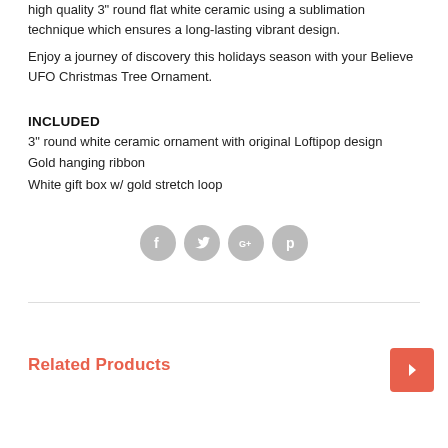high quality 3" round flat white ceramic using a sublimation technique which ensures a long-lasting vibrant design.
Enjoy a journey of discovery this holidays season with your Believe UFO Christmas Tree Ornament.
INCLUDED
3" round white ceramic ornament with original Loftipop design
Gold hanging ribbon
White gift box w/ gold stretch loop
[Figure (infographic): Social media icons: Facebook, Twitter, Google+, Pinterest — circular gray buttons]
Related Products